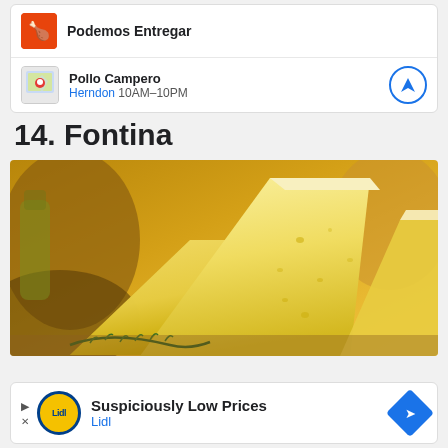[Figure (screenshot): Ad card showing 'Podemos Entregar' with orange icon at top]
[Figure (screenshot): Ad row: Pollo Campero map thumbnail, text 'Herndon 10AM-10PM', blue circle navigation icon]
14. Fontina
[Figure (photo): Close-up photo of wedges of Fontina cheese with rosemary herb sprigs on a wooden surface, warm golden lighting]
[Figure (screenshot): Bottom ad: Lidl 'Suspiciously Low Prices' with yellow/blue Lidl logo circle and blue navigation diamond]